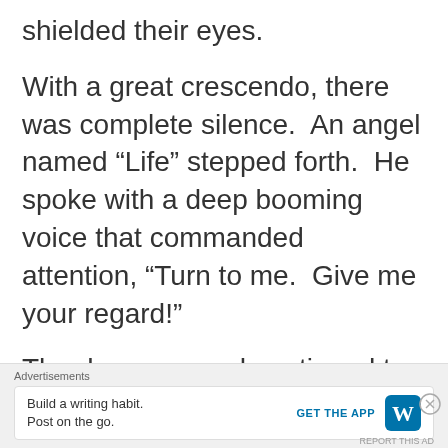shielded their eyes.
With a great crescendo, there was complete silence.  An angel named “Life” stepped forth.  He spoke with a deep booming voice that commanded attention, “Turn to me.  Give me your regard!”
The demon crowd continued to
Advertisements
Build a writing habit.
Post on the go.
GET THE APP